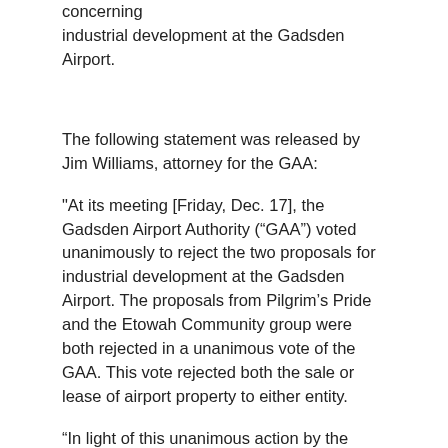concerning industrial development at the Gadsden Airport.
The following statement was released by Jim Williams, attorney for the GAA:
"At its meeting [Friday, Dec. 17], the Gadsden Airport Authority (“GAA”) voted unanimously to reject the two proposals for industrial development at the Gadsden Airport. The proposals from Pilgrim’s Pride and the Etowah Community group were both rejected in a unanimous vote of the GAA. This vote rejected both the sale or lease of airport property to either entity.
“In light of this unanimous action by the Board of the GAA, the GAA calls on the plaintiffs, and the lawyers for the plaintiffs, to immediately dismiss all pending lawsuits that have been filed against the GAA.
“There are no remaining issues for the Courts to address and all issues regarding the proposed developments are now